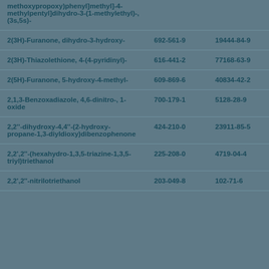| Name | EC Number | CAS Number |
| --- | --- | --- |
| methoxypropoxy)phenyl]methyl]-4-methylpentyl]dihydro-3-(1-methylethyl)-, (3s,5s)- |  |  |
| 2(3H)-Furanone, dihydro-3-hydroxy- | 692-561-9 | 19444-84-9 |
| 2(3H)-Thiazolethione, 4-(4-pyridinyl)- | 616-441-2 | 77168-63-9 |
| 2(5H)-Furanone, 5-hydroxy-4-methyl- | 609-869-6 | 40834-42-2 |
| 2,1,3-Benzoxadiazole, 4,6-dinitro-, 1-oxide | 700-179-1 | 5128-28-9 |
| 2,2''-dihydroxy-4,4''-(2-hydroxy-propane-1,3-diyldioxy)dibenzophenone | 424-210-0 | 23911-85-5 |
| 2,2',2''-(hexahydro-1,3,5-triazine-1,3,5-triyl)triethanol | 225-208-0 | 4719-04-4 |
| 2,2',2''-nitrilotriethanol | 203-049-8 | 102-71-6 |